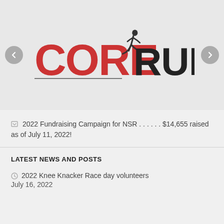[Figure (logo): Core Running logo with runner silhouette — 'CORE' in red block letters and 'RUNNING' in dark/black bold letters with a running figure in between]
2022 Fundraising Campaign for NSR . . . . . . $14,655 raised as of July 11, 2022!
LATEST NEWS AND POSTS
2022 Knee Knacker Race day volunteers July 16, 2022